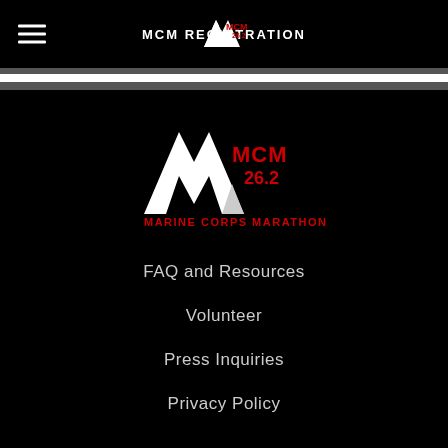MCM REGISTRATION
[Figure (logo): MCM 26.2 Marine Corps Marathon logo - small version in header]
[Figure (logo): MCM 26.2 Marine Corps Marathon logo - large version with red text MARINE CORPS MARATHON]
FAQ and Resources
Volunteer
Press Inquiries
Privacy Policy
Become A Sponsor
Media Releases